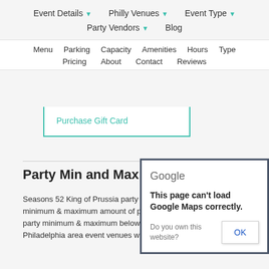Event Details ▾  Philly Venues ▾  Event Type ▾  Party Vendors ▾  Blog
Menu  Parking  Capacity  Amenities  Hours  Type  Pricing  About  Contact  Reviews
Purchase Gift Card
Party Min and Max
Seasons 52 King of Prussia party space minimum & maximum amount of people. Click party minimum & maximum below for a list of Philadelphia area event venues with similar capacity for events.
[Figure (screenshot): Google Maps error dialog box reading: 'This page can't load Google Maps correctly. Do you own this website?' with an OK button]